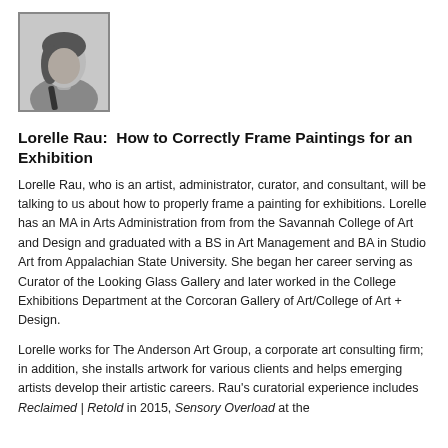[Figure (photo): Black and white portrait photo of Lorelle Rau]
Lorelle Rau:  How to Correctly Frame Paintings for an Exhibition
Lorelle Rau, who is an artist, administrator, curator, and consultant, will be talking to us about how to properly frame a painting for exhibitions. Lorelle has an MA in Arts Administration from from the Savannah College of Art and Design and graduated with a BS in Art Management and BA in Studio Art from Appalachian State University. She began her career serving as Curator of the Looking Glass Gallery and later worked in the College Exhibitions Department at the Corcoran Gallery of Art/College of Art + Design.
Lorelle works for The Anderson Art Group, a corporate art consulting firm; in addition, she installs artwork for various clients and helps emerging artists develop their artistic careers. Rau's curatorial experience includes Reclaimed | Retold in 2015, Sensory Overload at the